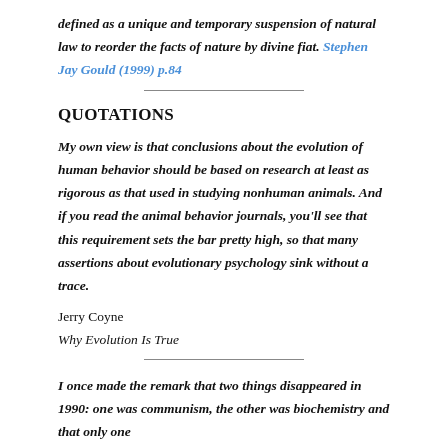defined as a unique and temporary suspension of natural law to reorder the facts of nature by divine fiat. Stephen Jay Gould (1999) p.84
QUOTATIONS
My own view is that conclusions about the evolution of human behavior should be based on research at least as rigorous as that used in studying nonhuman animals. And if you read the animal behavior journals, you'll see that this requirement sets the bar pretty high, so that many assertions about evolutionary psychology sink without a trace.
Jerry Coyne
Why Evolution Is True
I once made the remark that two things disappeared in 1990: one was communism, the other was biochemistry and that only one